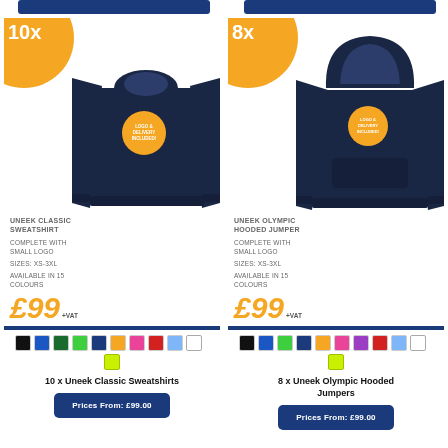[Figure (photo): Navy Uneek Classic Sweatshirt with orange logo circle badge]
UNEEK CLASSIC SWEATSHIRT
COMPLETE WITH SMALL LOGO
SIZES: XS-3XL
AVAILABLE IN 15 COLOURS
£99 +VAT
10 x Uneek Classic Sweatshirts
Prices From: £99.00
[Figure (photo): Navy Uneek Olympic Hooded Jumper with orange logo circle badge]
UNEEK OLYMPIC HOODED JUMPER
COMPLETE WITH SMALL LOGO
SIZES: XS-3XL
AVAILABLE IN 15 COLOURS
£99 +VAT
8 x Uneek Olympic Hooded Jumpers
Prices From: £99.00